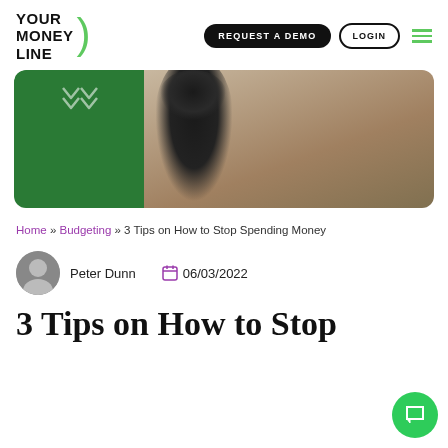YOUR MONEY LINE | REQUEST A DEMO | LOGIN
[Figure (photo): Hero image: partial view of a woman in a black top with her hand near her face, against a window background; left portion has a dark green panel with two downward arrow icons]
Home » Budgeting » 3 Tips on How to Stop Spending Money
Peter Dunn   06/03/2022
3 Tips on How to Stop